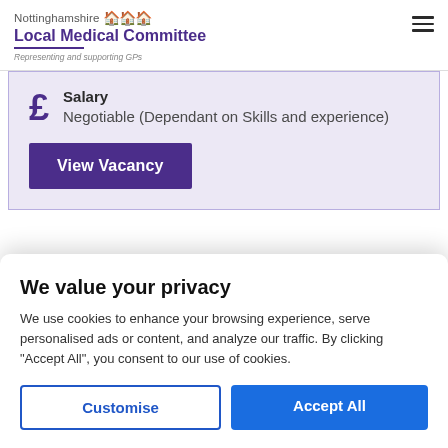Nottinghamshire Local Medical Committee — Representing and supporting GPs
Salary
Negotiable (Dependant on Skills and experience)
View Vacancy
We value your privacy
We use cookies to enhance your browsing experience, serve personalised ads or content, and analyze our traffic. By clicking "Accept All", you consent to our use of cookies.
Customise
Accept All